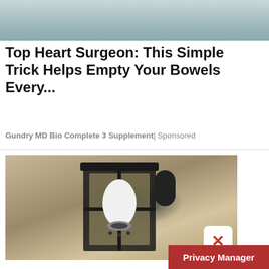[Figure (photo): Partial photo at top — hands and water, cropped]
Top Heart Surgeon: This Simple Trick Helps Empty Your Bowels Every...
Gundry MD Bio Complete 3 Supplement | Sponsored
[Figure (photo): Photo of an outdoor wall lantern with a white LED bulb/camera inside, mounted on a textured stucco wall. A close/X button overlay is visible in the lower right of the image.]
Privacy Manager